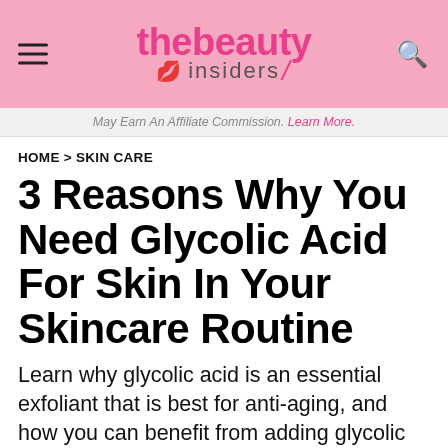thebeauty insiders
May Earn An Affiliate Commission. Learn More.
HOME > SKIN CARE
3 Reasons Why You Need Glycolic Acid For Skin In Your Skincare Routine
Learn why glycolic acid is an essential exfoliant that is best for anti-aging, and how you can benefit from adding glycolic acid into your skincare routine.